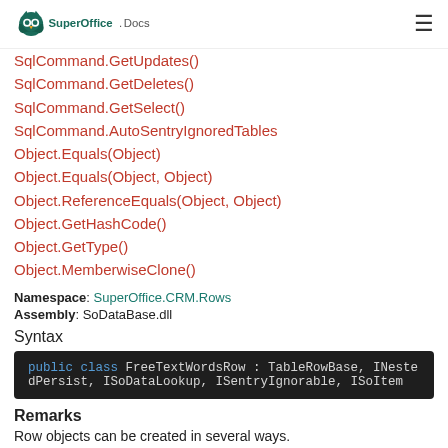SuperOffice Docs
SqlCommand.GetUpdates()
SqlCommand.GetDeletes()
SqlCommand.GetSelect()
SqlCommand.AutoSentryIgnoredTables
Object.Equals(Object)
Object.Equals(Object, Object)
Object.ReferenceEquals(Object, Object)
Object.GetHashCode()
Object.GetType()
Object.MemberwiseClone()
Namespace: SuperOffice.CRM.Rows
Assembly: SoDataBase.dll
Syntax
public class FreeTextWordsRow : TableRowBase, INestedPersist, ISoDataLookup, ISentryIgnorable, ISoItem
Remarks
Row objects can be created in several ways.